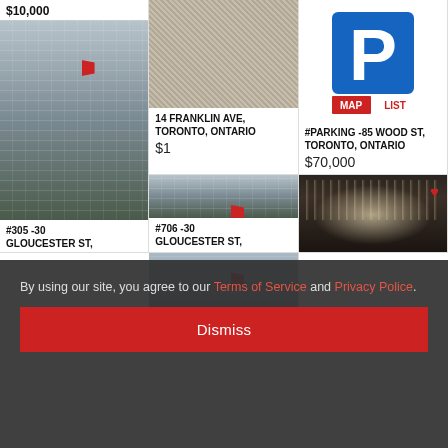[Figure (photo): Gravel/grass ground surface photo]
14 FRANKLIN AVE, TORONTO, ONTARIO
$1
[Figure (photo): Blue parking sign with MAP and LIST buttons]
#PARKING -85 WOOD ST, TORONTO, ONTARIO
$70,000
[Figure (photo): Mid-rise apartment building exterior]
#305 -30 GLOUCESTER ST, TORONTO, ONTARIO
$300,000
[Figure (photo): Mid-rise apartment building exterior (second listing)]
#706 -30 GLOUCESTER ST,
[Figure (photo): Building exterior partial view]
[Figure (photo): Lobby interior with decorative ceiling lights]
By using our site, you agree to our Terms of Service and Privacy Police.
Dismiss